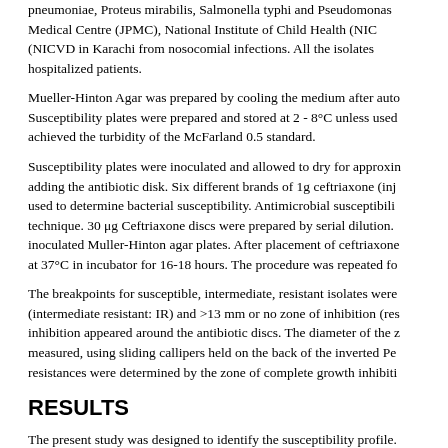pneumoniae, Proteus mirabilis, Salmonella typhi and Pseudomonas Medical Centre (JPMC), National Institute of Child Health (NIC (NICVD in Karachi from nosocomial infections. All the isolates hospitalized patients.
Mueller-Hinton Agar was prepared by cooling the medium after auto Susceptibility plates were prepared and stored at 2 - 8°C unless used achieved the turbidity of the McFarland 0.5 standard.
Susceptibility plates were inoculated and allowed to dry for approxin adding the antibiotic disk. Six different brands of 1g ceftriaxone (inj used to determine bacterial susceptibility. Antimicrobial susceptibili technique. 30 μg Ceftriaxone discs were prepared by serial dilution. inoculated Muller-Hinton agar plates. After placement of ceftriaxone at 37°C in incubator for 16-18 hours. The procedure was repeated fo
The breakpoints for susceptible, intermediate, resistant isolates were (intermediate resistant: IR) and >13 mm or no zone of inhibition (res inhibition appeared around the antibiotic discs. The diameter of the z measured, using sliding callipers held on the back of the inverted Pe resistances were determined by the zone of complete growth inhibiti
RESULTS
The present study was designed to identify the susceptibility profile. The zones of inhibition around every disc were calculated in mill